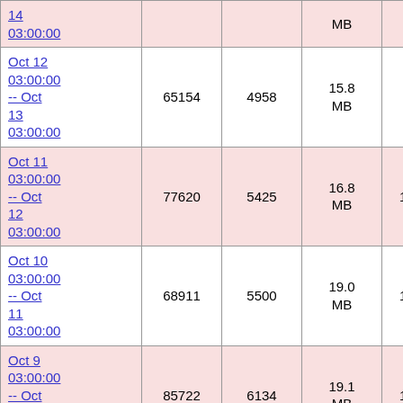| Date Range | Col2 | Col3 | Size | Col5 | Col6 | Col7 |
| --- | --- | --- | --- | --- | --- | --- |
| Oct 14 03:00:00 |  |  | MB |  |  |  |
| Oct 12 03:00:00 -- Oct 13 03:00:00 | 65154 | 4958 | 15.8 MB | 93767 | 22469 |  |
| Oct 11 03:00:00 -- Oct 12 03:00:00 | 77620 | 5425 | 16.8 MB | 103472 | 21075 |  |
| Oct 10 03:00:00 -- Oct 11 03:00:00 | 68911 | 5500 | 19.0 MB | 105293 | 24078 | 8 |
| Oct 9 03:00:00 -- Oct 10 03:00:00 | 85722 | 6134 | 19.1 MB | 115129 | 26709 | 8 |
| Oct 8 03:00:00 |  |  | 18.5 |  |  |  |